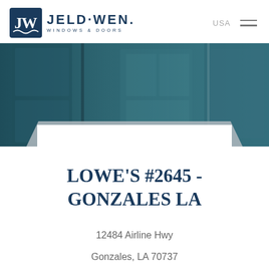[Figure (logo): JELD-WEN Windows & Doors logo with JW box icon and brand name]
USA
[Figure (photo): Hero background image showing teal/dark teal window and door panels]
LOWE'S #2645 - GONZALES LA
12484 Airline Hwy
Gonzales, LA 70737